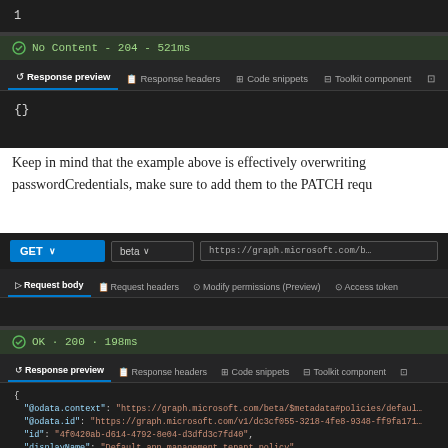[Figure (screenshot): Dark-themed API response panel showing a code line with '1' visible, then a status bar showing 'No Content - 204 - 521ms' with a green checkmark, then tabs: Response preview (active), Response headers, Code snippets, Toolkit component, and a preview area with an empty JSON object brace.]
Keep in mind that the example above is effectively overwriting passwordCredentials, make sure to add them to the PATCH requ
[Figure (screenshot): Dark-themed Microsoft Graph Explorer panel showing a GET request to https://graph.microsoft.com/b... with beta version, tabs for Request body (active), Request headers, Modify permissions (Preview), Access token. Below that a status bar showing OK - 200 - 198ms, then Response preview, Response headers, Code snippets, Toolkit component tabs, and JSON response beginning with @odata.context, @odata.id, id, displayName fields.]